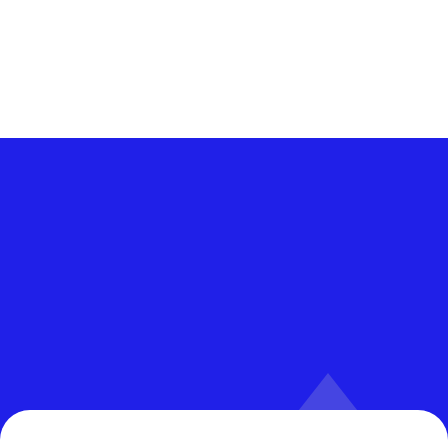Get the latest articles from KB Controls delivered direct to your inbox every week